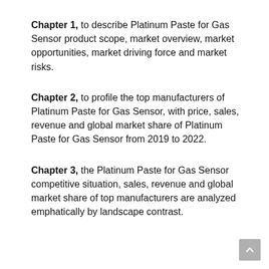Chapter 1, to describe Platinum Paste for Gas Sensor product scope, market overview, market opportunities, market driving force and market risks.
Chapter 2, to profile the top manufacturers of Platinum Paste for Gas Sensor, with price, sales, revenue and global market share of Platinum Paste for Gas Sensor from 2019 to 2022.
Chapter 3, the Platinum Paste for Gas Sensor competitive situation, sales, revenue and global market share of top manufacturers are analyzed emphatically by landscape contrast.